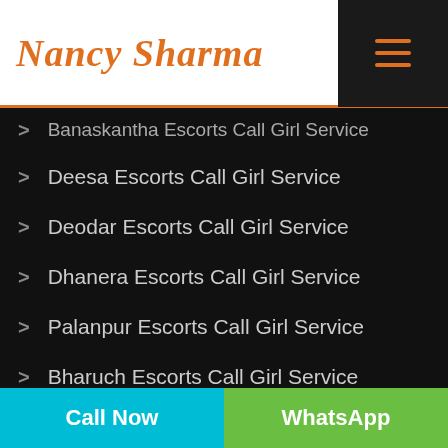Nancy Sharma
Banaskantha Escorts Call Girl Service
Deesa Escorts Call Girl Service
Deodar Escorts Call Girl Service
Dhanera Escorts Call Girl Service
Palanpur Escorts Call Girl Service
Bharuch Escorts Call Girl Service
Ankleshwar Escorts Call Girl Service
Bhavnagar Escorts Call Girl Service
Palitana Escorts Call Girl Service
Call Now | WhatsApp